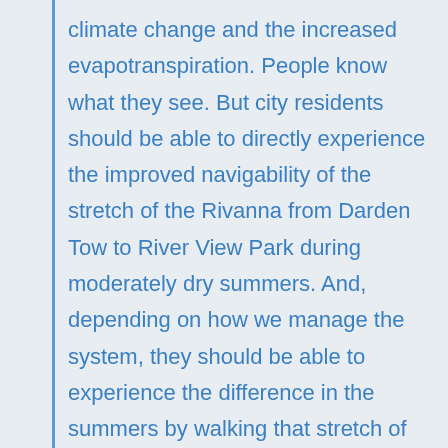climate change and the increased evapotranspiration. People know what they see. But city residents should be able to directly experience the improved navigability of the stretch of the Rivanna from Darden Tow to River View Park during moderately dry summers. And, depending on how we manage the system, they should be able to experience the difference in the summers by walking that stretch of the river.